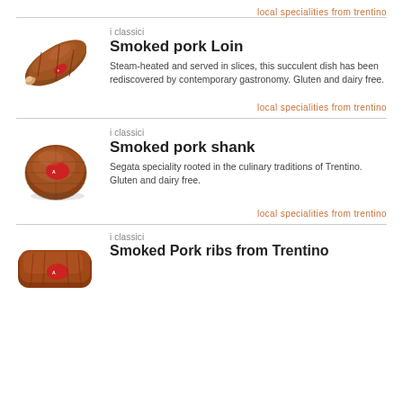local specialities from trentino
i classici
Smoked pork Loin
Steam-heated and served in slices, this succulent dish has been rediscovered by contemporary gastronomy. Gluten and dairy free.
local specialities from trentino
i classici
Smoked pork shank
Segata speciality rooted in the culinary traditions of Trentino. Gluten and dairy free.
local specialities from trentino
i classici
Smoked Pork ribs from Trentino